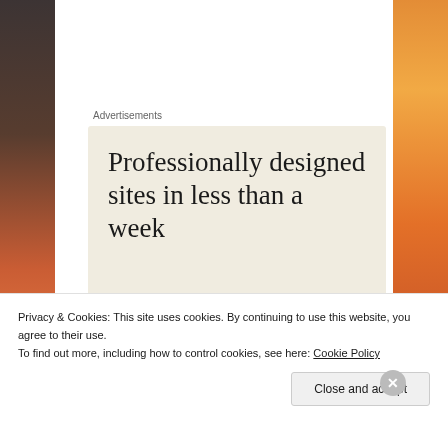[Figure (photo): Blurred orange and dark background photo visible on left and right edges of the page]
Advertisements
[Figure (screenshot): Advertisement banner with cream/beige background reading: Professionally designed sites in less than a week]
Publish
This holds the content which you have made available to visitors to your website and is usually located in the Demilitarized Zone (DMZ).
Privacy & Cookies: This site uses cookies. By continuing to use this website, you agree to their use.
To find out more, including how to control cookies, see here: Cookie Policy
Close and accept